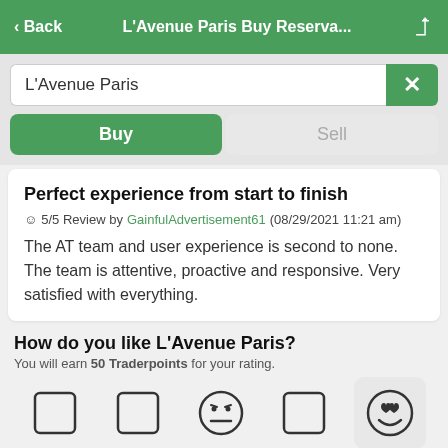< Back  L'Avenue Paris Buy Reserva...
L'Avenue Paris
Buy  Sell
Perfect experience from start to finish
☺ 5/5 Review by GainfulAdvertisement61 (08/29/2021 11:21 am)
The AT team and user experience is second to none. The team is attentive, proactive and responsive. Very satisfied with everything.
How do you like L'Avenue Paris?
You will earn 50 Traderpoints for your rating.
[Figure (other): Five emoji rating icons: blank, blank, neutral face, blank, and heart-eyes smiley (selected/highlighted)]